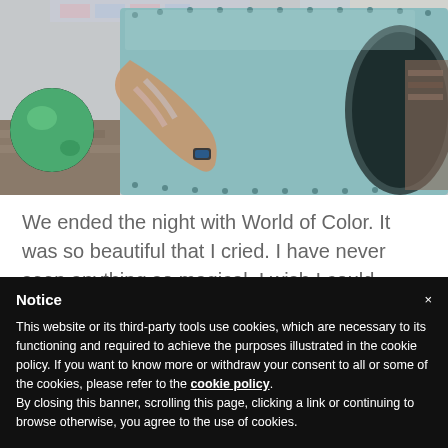[Figure (photo): A photo showing a child going through a teal/light blue playground tunnel slide, with a green ball visible on the left side. The scene appears to be on a playground with brick pavement.]
We ended the night with World of Color. It was so beautiful that I cried. I have never seen anything so magical. I wish I could attach all the videos I took to
Notice
This website or its third-party tools use cookies, which are necessary to its functioning and required to achieve the purposes illustrated in the cookie policy. If you want to know more or withdraw your consent to all or some of the cookies, please refer to the cookie policy.
By closing this banner, scrolling this page, clicking a link or continuing to browse otherwise, you agree to the use of cookies.